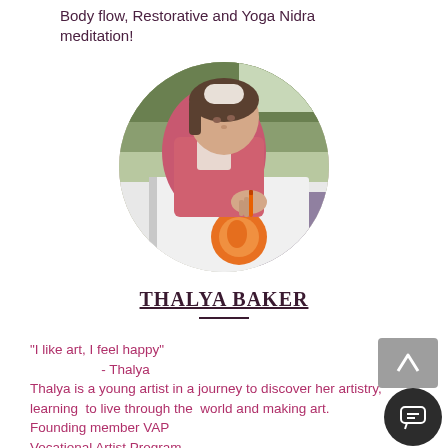Body flow, Restorative and Yoga Nidra meditation!
[Figure (photo): Circular cropped photo of a young woman wearing a pink shirt, looking down and painting an orange circular design in a sketchbook or on paper, set against an outdoor background]
THALYA BAKER
"I like art, I feel happy"
- Thalya
Thalya is a young artist in a journey to discover her artistry, learning to live through the world and making art.
Founding member VAP
Vocational Artist Program
My Season: SPRING!!